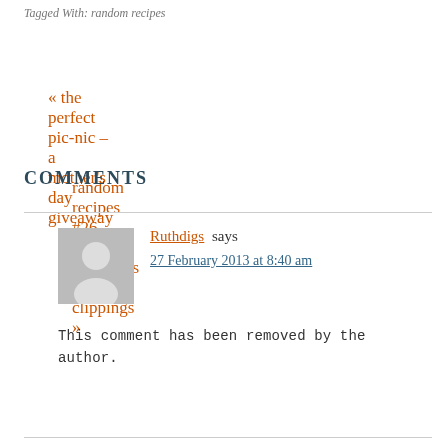Tagged With: random recipes
« the perfect pic-nic – a mother's day giveaway
random recipes #26 – cuttings, memories and clippings »
COMMENTS
Ruthdigs says
27 February 2013 at 8:40 am
This comment has been removed by the author.